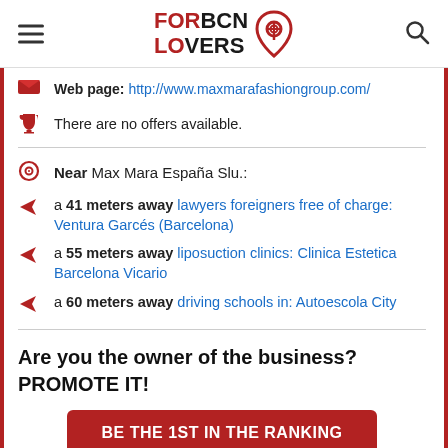FOR BCN LOVERS
Web page: http://www.maxmarafashiongroup.com/
There are no offers available.
Near Max Mara España Slu.:
a 41 meters away lawyers foreigners free of charge: Ventura Garcés (Barcelona)
a 55 meters away liposuction clinics: Clinica Estetica Barcelona Vicario
a 60 meters away driving schools in: Autoescola City
Are you the owner of the business? PROMOTE IT!
BE THE 1ST IN THE RANKING